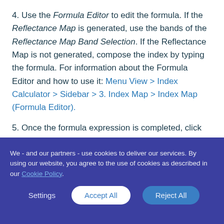4. Use the Formula Editor to edit the formula. If the Reflectance Map is generated, use the bands of the Reflectance Map Band Selection. If the Reflectance Map is not generated, compose the index by typing the formula. For information about the Formula Editor and how to use it: Menu View > Index Calculator > Sidebar > 3. Index Map > Index Map (Formula Editor).
5. Once the formula expression is completed, click OK.
We - and our partners - use cookies to deliver our services. By using our website, you agree to the use of cookies as described in our Cookie Policy